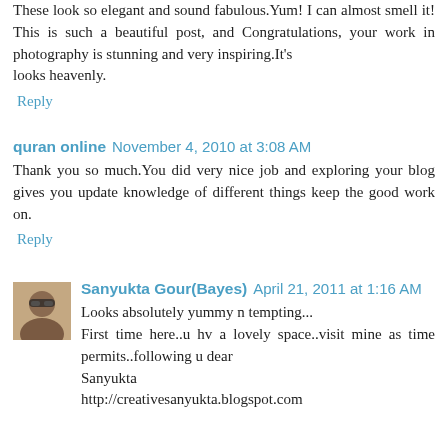These look so elegant and sound fabulous.Yum! I can almost smell it! This is such a beautiful post, and Congratulations, your work in photography is stunning and very inspiring.It's
looks heavenly.
Reply
quran online  November 4, 2010 at 3:08 AM
Thank you so much.You did very nice job and exploring your blog gives you update knowledge of different things keep the good work on.
Reply
[Figure (photo): Small avatar/profile photo of Sanyukta Gour(Bayes) — a person wearing sunglasses, brownish tones]
Sanyukta Gour(Bayes)  April 21, 2011 at 1:16 AM
Looks absolutely yummy n tempting...
First time here..u hv a lovely space..visit mine as time permits..following u dear
Sanyukta
http://creativesanyukta.blogspot.com